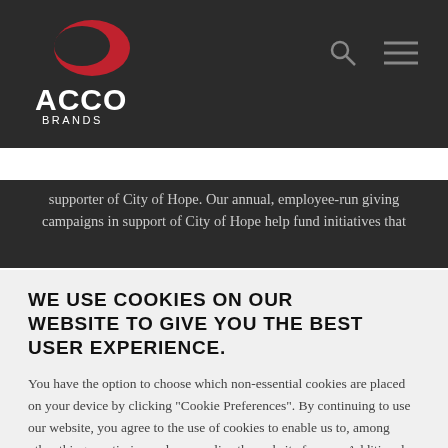ACCO Brands website header with search and menu icons
supporter of City of Hope. Our annual, employee-run giving campaigns in support of City of Hope help fund initiatives that
WE USE COOKIES ON OUR WEBSITE TO GIVE YOU THE BEST USER EXPERIENCE.
You have the option to choose which non-essential cookies are placed on your device by clicking "Cookie Preferences". By continuing to use our website, you agree to the use of cookies to enable us to, among other things, optimize and personalize the website for you. Additional details are also available in our Cookie Notice where you can also manage your cookie preferences at any time.
OK   Cookie Preferences   [X]